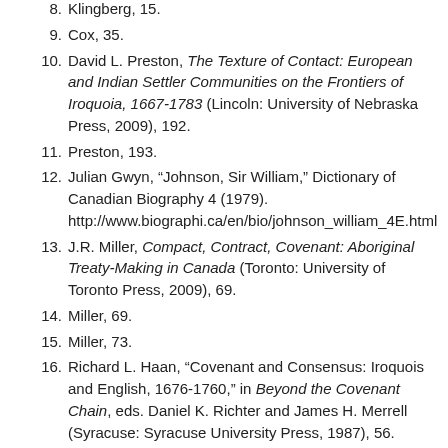8. Klingberg, 15.
9. Cox, 35.
10. David L. Preston, The Texture of Contact: European and Indian Settler Communities on the Frontiers of Iroquoia, 1667-1783 (Lincoln: University of Nebraska Press, 2009), 192.
11. Preston, 193.
12. Julian Gwyn, “Johnson, Sir William,” Dictionary of Canadian Biography 4 (1979). http://www.biographi.ca/en/bio/johnson_william_4E.html
13. J.R. Miller, Compact, Contract, Covenant: Aboriginal Treaty-Making in Canada (Toronto: University of Toronto Press, 2009), 69.
14. Miller, 69.
15. Miller, 73.
16. Richard L. Haan, “Covenant and Consensus: Iroquois and English, 1676-1760,” in Beyond the Covenant Chain, eds. Daniel K. Richter and James H. Merrell (Syracuse: Syracuse University Press, 1987), 56.